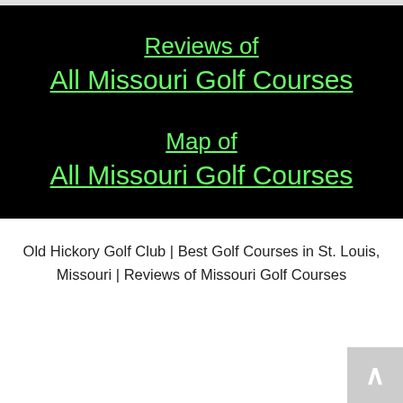[Figure (screenshot): Black banner with two green underlined hyperlinks: 'Reviews of All Missouri Golf Courses' and 'Map of All Missouri Golf Courses']
Old Hickory Golf Club | Best Golf Courses in St. Louis, Missouri | Reviews of Missouri Golf Courses